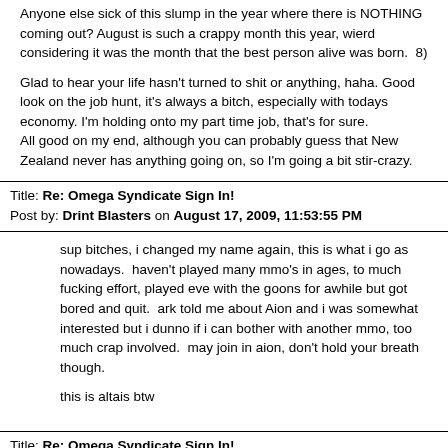Anyone else sick of this slump in the year where there is NOTHING coming out? August is such a crappy month this year, wierd considering it was the month that the best person alive was born.  8)

Glad to hear your life hasn't turned to shit or anything, haha. Good look on the job hunt, it's always a bitch, especially with todays economy. I'm holding onto my part time job, that's for sure.
All good on my end, although you can probably guess that New Zealand never has anything going on, so I'm going a bit stir-crazy.
Title: Re: Omega Syndicate Sign In!
Post by: Drint Blasters on August 17, 2009, 11:53:55 PM
sup bitches, i changed my name again, this is what i go as nowadays.  haven't played many mmo's in ages, to much fucking effort, played eve with the goons for awhile but got bored and quit.  ark told me about Aion and i was somewhat interested but i dunno if i can bother with another mmo, too much crap involved.  may join in aion, don't hold your breath though.

this is altais btw
Title: Re: Omega Syndicate Sign In!
Post by: Drint Blasters on August 17, 2009, 11:55:30 PM